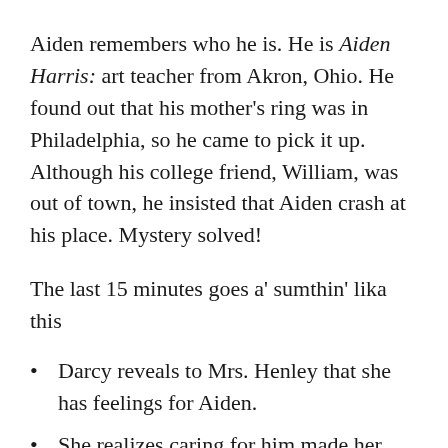Aiden remembers who he is. He is Aiden Harris: art teacher from Akron, Ohio. He found out that his mother's ring was in Philadelphia, so he came to pick it up. Although his college friend, William, was out of town, he insisted that Aiden crash at his place. Mystery solved!
The last 15 minutes goes a' sumthin' lika this
Darcy reveals to Mrs. Henley that she has feelings for Aiden.
She realizes caring for him made her live life less cautiously.